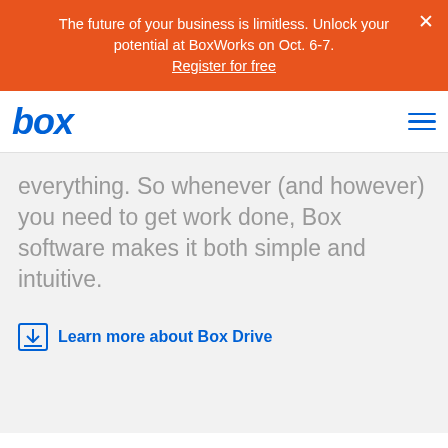The future of your business is limitless. Unlock your potential at BoxWorks on Oct. 6-7. Register for free
[Figure (logo): Box logo in blue italic bold text]
everything. So whenever (and however) you need to get work done, Box software makes it both simple and intuitive.
Learn more about Box Drive